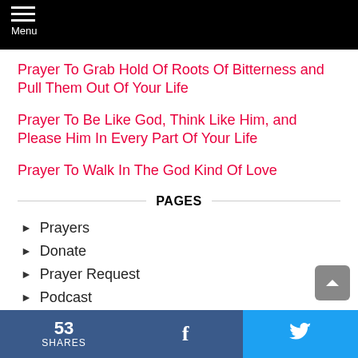Menu
Prayer To Grab Hold Of Roots Of Bitterness and Pull Them Out Of Your Life
Prayer To Be Like God, Think Like Him, and Please Him In Every Part Of Your Life
Prayer To Walk In The God Kind Of Love
PAGES
Prayers
Donate
Prayer Request
Podcast
About
53 SHARES  f  (Twitter bird icon)